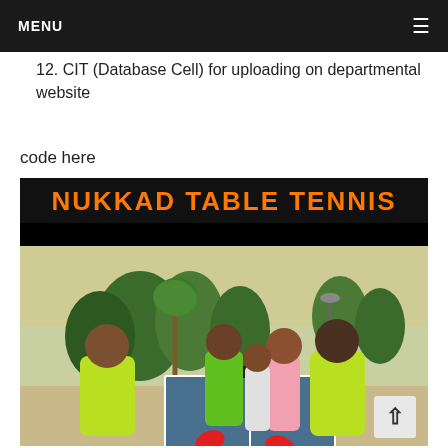MENU ≡
12. CIT (Database Cell) for uploading on departmental website
code here
[Figure (photo): Photo of people playing table tennis outdoors in a park, with text 'NUKKAD TABLE TENNIS' in orange on a black background at the top. Two players in yellow-green shirts are at a blue table tennis table. Spectators and trees visible in background.]